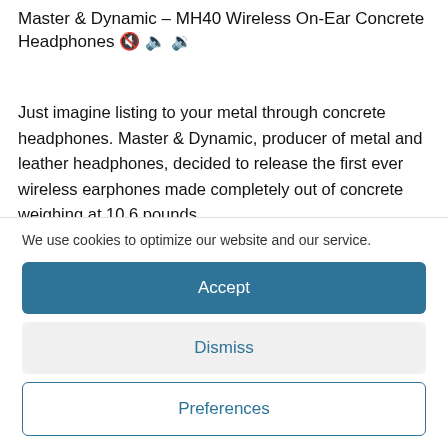Master & Dynamic – MH40 Wireless On-Ear Concrete Headphones 🔇🔇🔇
Just imagine listing to your metal through concrete headphones. Master & Dynamic, producer of metal and leather headphones, decided to release the first ever wireless earphones made completely out of concrete weighing at 10.6 pounds.
We use cookies to optimize our website and our service.
Accept
Dismiss
Preferences